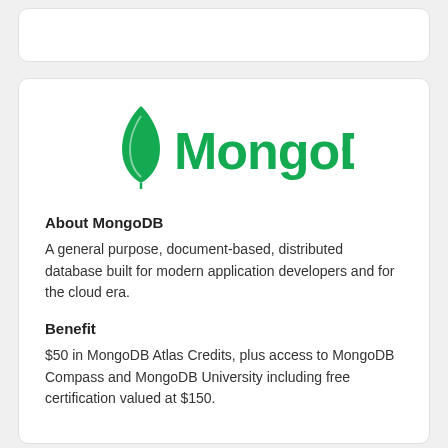[Figure (logo): MongoDB logo — green leaf icon followed by 'MongoDB' wordmark in dark green]
About MongoDB
A general purpose, document-based, distributed database built for modern application developers and for the cloud era.
Benefit
$50 in MongoDB Atlas Credits, plus access to MongoDB Compass and MongoDB University including free certification valued at $150.